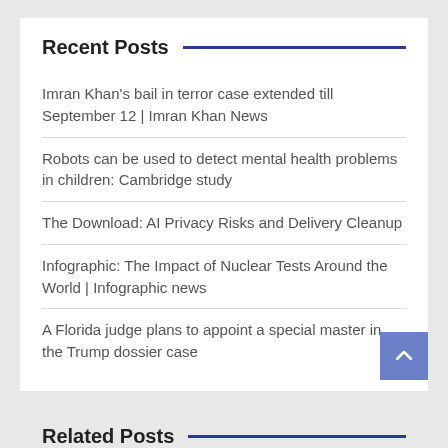Recent Posts
Imran Khan's bail in terror case extended till September 12 | Imran Khan News
Robots can be used to detect mental health problems in children: Cambridge study
The Download: AI Privacy Risks and Delivery Cleanup
Infographic: The Impact of Nuclear Tests Around the World | Infographic news
A Florida judge plans to appoint a special master in the Trump dossier case
Related Posts